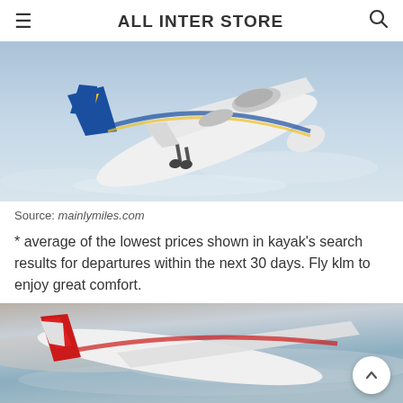ALL INTER STORE
[Figure (photo): Singapore Airlines aircraft (blue, white, and yellow livery) in flight against a light blue sky, photographed from below-front angle showing landing gear deployed]
Source: mainlymiles.com
* average of the lowest prices shown in kayak’s search results for departures within the next 30 days. Fly klm to enjoy great comfort.
[Figure (photo): Aircraft with red livery in flight against a pastel sky with clouds, viewed from above/behind showing tail and wings]